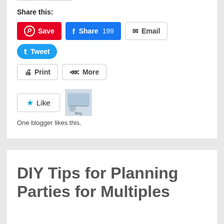Share this:
[Figure (screenshot): Social sharing buttons: Save (Pinterest, red), Share 199 (Facebook, blue), Email (outline), Tweet (Twitter, cyan/blue), Print (outline), More (outline), Like button with star, blogger avatar thumbnail]
One blogger likes this.
DIY Tips for Planning Parties for Multiples